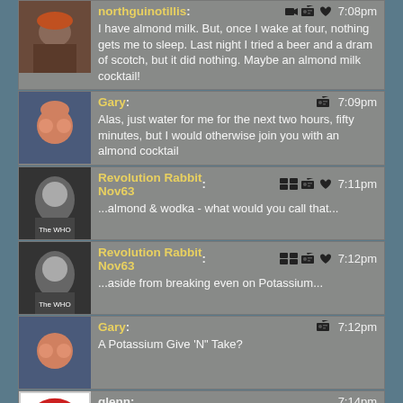northguinotillis: [icons] 7:08pm — I have almond milk. But, once I wake at four, nothing gets me to sleep. Last night I tried a beer and a dram of scotch, but it did nothing. Maybe an almond milk cocktail!
Gary: [icon] 7:09pm — Alas, just water for me for the next two hours, fifty minutes, but I would otherwise join you with an almond cocktail
Revolution Rabbit Nov63: [icons] 7:11pm — ...almond & wodka - what would you call that...
Revolution Rabbit Nov63: [icons] 7:12pm — ...aside from breaking even on Potassium...
Gary: [icon] 7:12pm — A Potassium Give 'N" Take?
glenn: 7:14pm — almond milk and vodka? a nutty russian.
Gary: [icon] 7:15pm — You're now listening to these guys: